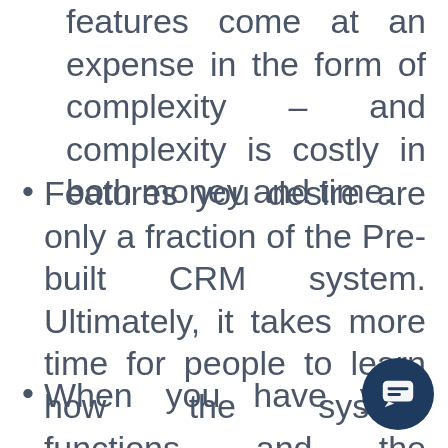features come at an expense in the form of complexity – and complexity is costly in both money and time.
Features you desire are only a fraction of the Pre-built CRM system. Ultimately, it takes more time for people to learn how the system functions, and the distractions can cut into your sales team's productivity.
When you have your customized CRM.it can